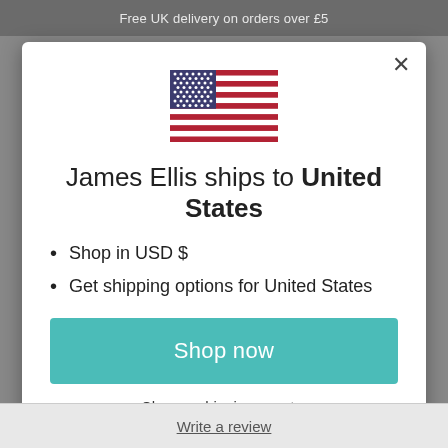Free UK delivery on orders over £5
[Figure (illustration): US flag icon displayed at top center of modal dialog]
James Ellis ships to United States
Shop in USD $
Get shipping options for United States
Shop now
Change shipping country
Write a review